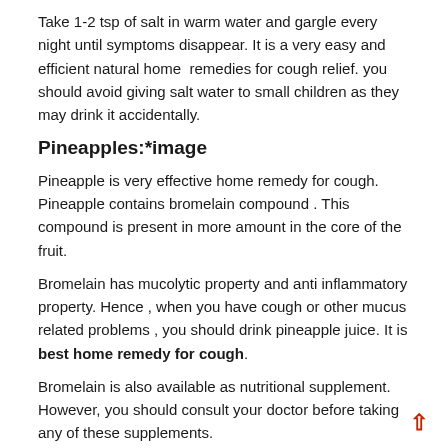Take 1-2 tsp of salt in warm water and gargle every night until symptoms disappear. It is a very easy and efficient natural home remedies for cough relief. you should avoid giving salt water to small children as they may drink it accidentally.
Pineapples:*image
Pineapple is very effective home remedy for cough. Pineapple contains bromelain compound . This compound is present in more amount in the core of the fruit.
Bromelain has mucolytic property and anti inflammatory property. Hence , when you have cough or other mucus related problems , you should drink pineapple juice. It is best home remedy for cough.
Bromelain is also available as nutritional supplement. However, you should consult your doctor before taking any of these supplements.
Thyme:*image